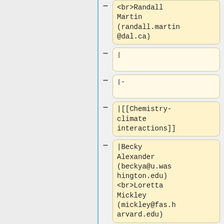&lt;br&gt;Randall Martin (randall.martin@dal.ca)
|
|-
|[[Chemistry-climate interactions]]
|Becky Alexander (beckya@u.washington.edu) <br>Loretta Mickley (mickley@fas.harvard.edu)
|
|-